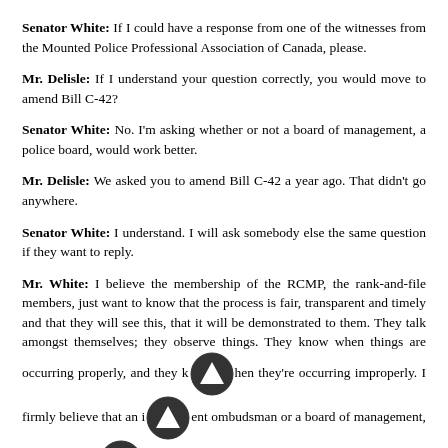Senator White: If I could have a response from one of the witnesses from the Mounted Police Professional Association of Canada, please.
Mr. Delisle: If I understand your question correctly, you would move to amend Bill C-42?
Senator White: No. I'm asking whether or not a board of management, a police board, would work better.
Mr. Delisle: We asked you to amend Bill C-42 a year ago. That didn't go anywhere.
Senator White: I understand. I will ask somebody else the same question if they want to reply.
Mr. White: I believe the membership of the RCMP, the rank-and-file members, just want to know that the process is fair, transparent and timely and that they will see this, that it will be demonstrated to them. They talk amongst themselves; they observe things. They know when things are occurring properly, and they know when they're occurring improperly. I firmly believe that an independent ombudsman or a board of management, as long as it is seen as a mechanism to help the organization get to the next issue or put out that fire, will be very welcome and is required. To the [bottom cut off]